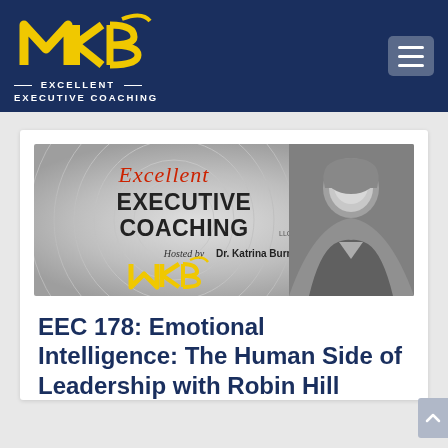[Figure (logo): MKB Excellent Executive Coaching logo in yellow on dark navy header, with hamburger menu button on the right]
[Figure (illustration): Excellent Executive Coaching podcast banner showing text 'Excellent EXECUTIVE COACHING Hosted by Dr. Katrina Burrus, MCC' with MKB logo in yellow, and a black-and-white photo of a woman on the right side]
EEC 178: Emotional Intelligence: The Human Side of Leadership with Robin Hill